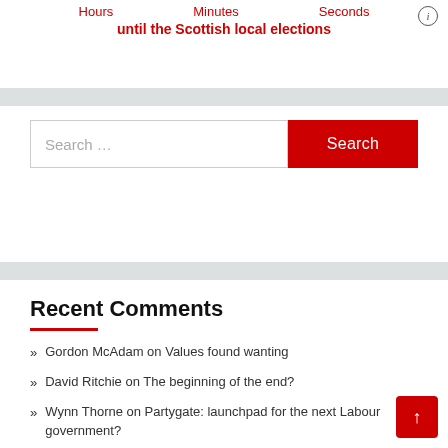Hours    Minutes    Seconds
until the Scottish local elections
[Figure (other): Info icon circle with letter i]
Search ...
Recent Comments
Gordon McAdam on Values found wanting
David Ritchie on The beginning of the end?
Wynn Thorne on Partygate: launchpad for the next Labour government?